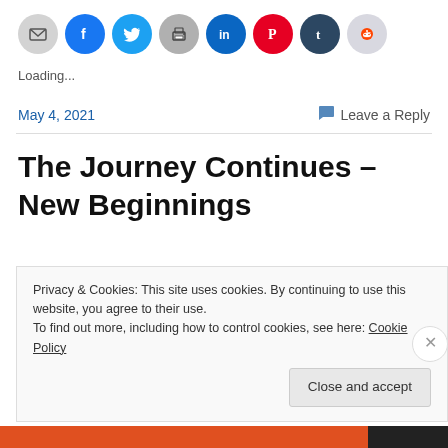[Figure (other): Row of social sharing icon circles: email (gray), Facebook (blue), Twitter (cyan), print (gray), LinkedIn (teal), Pinterest (red), Tumblr (dark blue), Reddit (light gray)]
Loading...
May 4, 2021
Leave a Reply
The Journey Continues – New Beginnings
Privacy & Cookies: This site uses cookies. By continuing to use this website, you agree to their use.
To find out more, including how to control cookies, see here: Cookie Policy
Close and accept